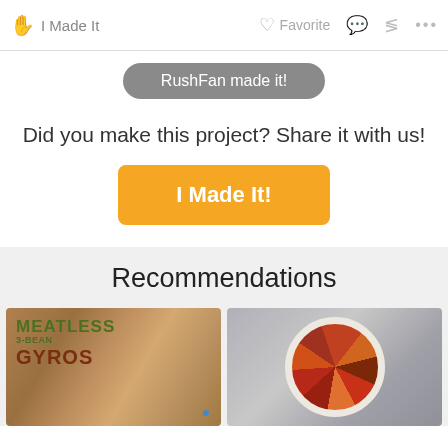I Made It   Favorite   ...
RushFan made it!
Did you make this project? Share it with us!
I Made It!
Recommendations
[Figure (photo): Meatless 3-Bean Gyros recipe card with food photo]
[Figure (photo): Ratatouille dish in a round baking dish, sliced vegetables arranged in circular pattern]